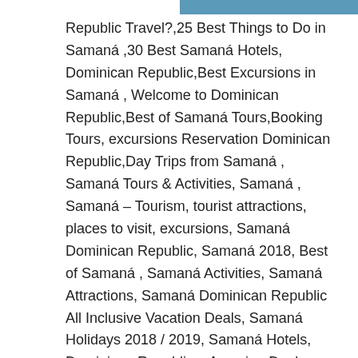[Figure (photo): Partial view of a blue water/ocean photo strip at the top right of the page]
Republic Travel?,25 Best Things to Do in Samaná ,30 Best Samaná Hotels, Dominican Republic,Best Excursions in Samaná , Welcome to Dominican Republic,Best of Samaná Tours,Booking Tours, excursions Reservation Dominican Republic,Day Trips from Samaná , Samaná Tours & Activities, Samaná , Samaná – Tourism, tourist attractions, places to visit, excursions, Samaná Dominican Republic, Samaná 2018, Best of Samaná , Samaná Activities, Samaná Attractions, Samaná Dominican Republic All Inclusive Vacation Deals, Samaná Holidays 2018 / 2019, Samaná Hotels, Dominican Republic – Amazing Deals , Samaná Information , Samaná Tourism, Samaná Tours & Activities, Samaná Tours , Excursions & Things To Do, Samaná Tours ,Plan Your Samaná Trip Now, Samaná Tours excursions and activities, Samaná Travel Guide 2018, Samaná Vacation Packages & All-Inclusive